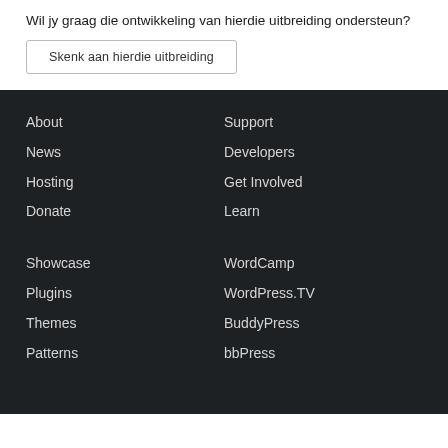Wil jy graag die ontwikkeling van hierdie uitbreiding ondersteun?
Skenk aan hierdie uitbreiding
About
News
Hosting
Donate
Support
Developers
Get Involved
Learn
Showcase
Plugins
Themes
Patterns
WordCamp
WordPress.TV
BuddyPress
bbPress